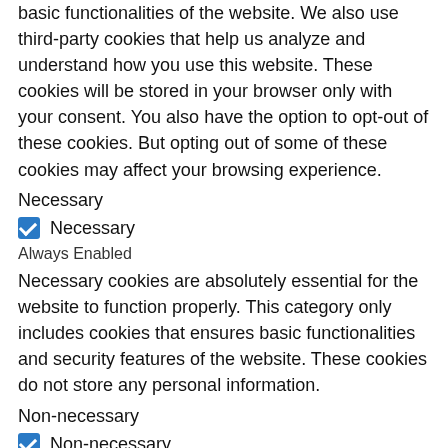basic functionalities of the website. We also use third-party cookies that help us analyze and understand how you use this website. These cookies will be stored in your browser only with your consent. You also have the option to opt-out of these cookies. But opting out of some of these cookies may affect your browsing experience.
Necessary
☑ Necessary
Always Enabled
Necessary cookies are absolutely essential for the website to function properly. This category only includes cookies that ensures basic functionalities and security features of the website. These cookies do not store any personal information.
Non-necessary
☑ Non-necessary
Any cookies that may not be particularly necessary for